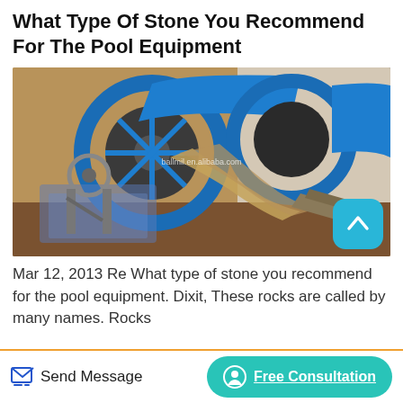What Type Of Stone You Recommend For The Pool Equipment
[Figure (photo): Industrial stone/sand washing equipment with large blue wheel-shaped rotating drum mechanism, conveyor belts, and sandy/muddy material being processed. Machinery appears to be at a mining or quarrying facility. Watermark reads ballmil.en.alibaba.com]
Mar 12, 2013 Re What type of stone you recommend for the pool equipment. Dixit, These rocks are called by many names. Rocks
Send Message | Free Consultation